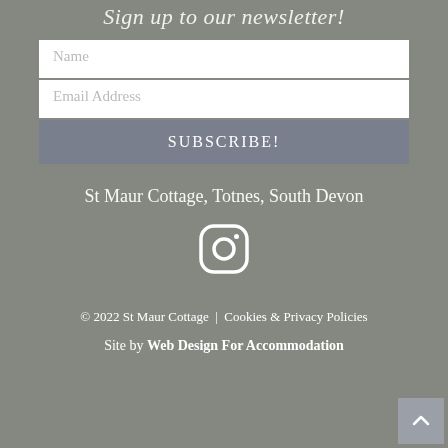Sign up to our newsletter!
[Figure (screenshot): Newsletter signup form with Name field, Email Address field, and SUBSCRIBE! button]
St Maur Cottage, Totnes, South Devon
[Figure (logo): Instagram icon/logo in white outline style]
© 2022 St Maur Cottage  |  Cookies & Privacy Policies
Site by Web Design For Accommodation